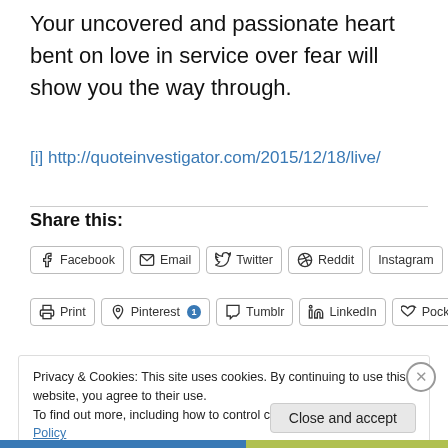Your uncovered and passionate heart bent on love in service over fear will show you the way through.
[i] http://quoteinvestigator.com/2015/12/18/live/
Share this:
[Figure (other): Social sharing buttons: Facebook, Email, Twitter, Reddit, Instagram, Print, Pinterest (1), Tumblr, LinkedIn, Pocket]
Privacy & Cookies: This site uses cookies. By continuing to use this website, you agree to their use.
To find out more, including how to control cookies, see here: Cookie Policy
Close and accept